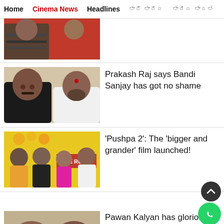Home | Cinema News | Headlines | [Telugu] | [Telugu]
[Figure (photo): Partial image of two people, one in striped shirt and one in red saree]
[Figure (photo): Two men side by side — Prakash Raj on left in black shirt, Bandi Sanjay on right in white shirt]
Prakash Raj says Bandi Sanjay has got no shame
[Figure (photo): Group of people at Pushpa 2 The Rule movie launch event with floral decorations]
'Pushpa 2': The 'bigger and grander' film launched!
[Figure (photo): Partial image of Pawan Kalyan]
Pawan Kalyan has glorious praises for